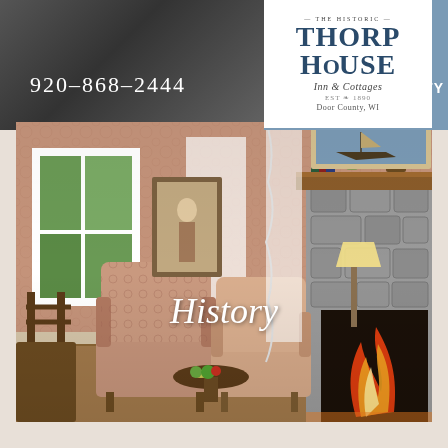[Figure (photo): Dark header area with blurred/dim background photo on the left side]
[Figure (logo): The Historic Thorp House Inn & Cottages logo, white background, Door County WI]
920-868-2444
CHECK AVAILABILITY
[Figure (photo): Interior of Thorp House Inn showing a cozy sitting room with floral wingback chairs, stone fireplace with roaring fire, fireplace mantel with decorative items, patterned wallpaper, framed artwork, and a round side table]
History